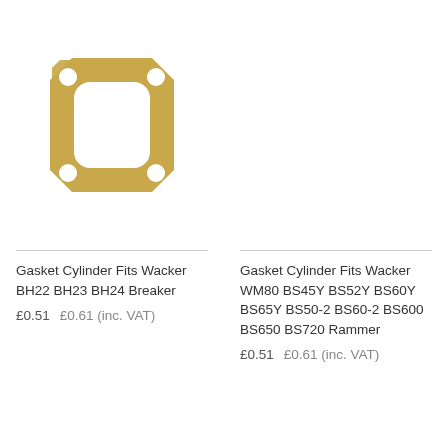[Figure (photo): A golden/brass colored cylinder gasket with a central rectangular rounded hole and four corner bolt holes, viewed from above on a white background.]
Gasket Cylinder Fits Wacker BH22 BH23 BH24 Breaker
£0.51   £0.61 (inc. VAT)
Gasket Cylinder Fits Wacker WM80 BS45Y BS52Y BS60Y BS65Y BS50-2 BS60-2 BS600 BS650 BS720 Rammer
£0.51   £0.61 (inc. VAT)